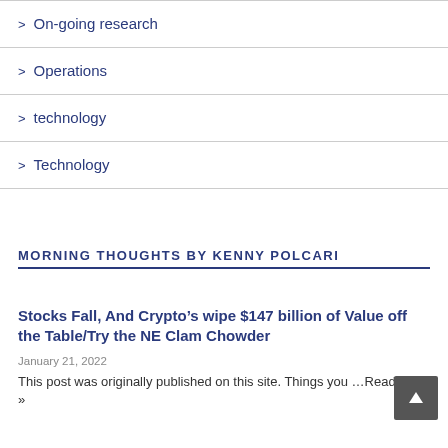> On-going research
> Operations
> technology
> Technology
MORNING THOUGHTS BY KENNY POLCARI
Stocks Fall, And Crypto’s wipe $147 billion of Value off the Table/Try the NE Clam Chowder
January 21, 2022
This post was originally published on this site. Things you … Read More »